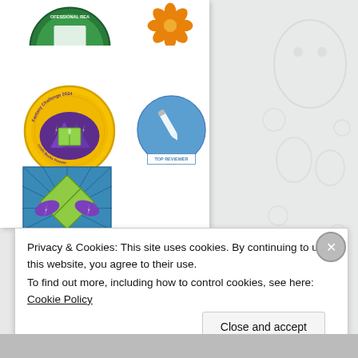[Figure (illustration): Badge panel showing multiple book-related badges: a circular purple/green mountain/book badge (Fantasy Challenge), a circular blue badge with pen/star design labeled TOP REVIEWER, a square illustrated badge labeled ADVOCATE showing a book with rays. Also partial badges at top. Right side shows a faint ghost/character watermark illustration.]
Privacy & Cookies: This site uses cookies. By continuing to use this website, you agree to their use.
To find out more, including how to control cookies, see here: Cookie Policy
Close and accept